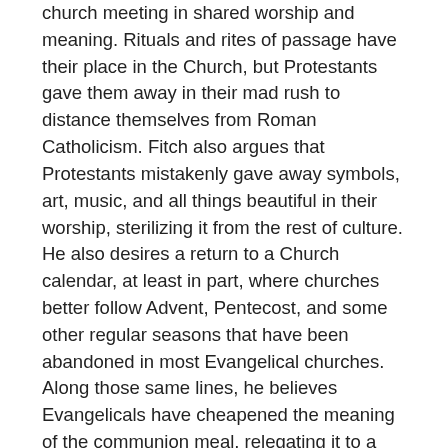church meeting in shared worship and meaning. Rituals and rites of passage have their place in the Church, but Protestants gave them away in their mad rush to distance themselves from Roman Catholicism. Fitch also argues that Protestants mistakenly gave away symbols, art, music, and all things beautiful in their worship, sterilizing it from the rest of culture. He also desires a return to a Church calendar, at least in part, where churches better follow Advent, Pentecost, and some other regular seasons that have been abandoned in most Evangelical churches. Along those same lines, he believes Evangelicals have cheapened the meaning of the communion meal, relegating it to a few words spoken over grape juice and crackers rather than the meaningful meal it once was.